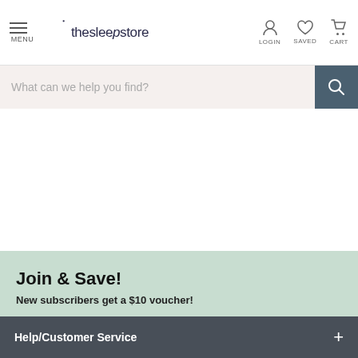thesleepstore — MENU | LOGIN | SAVED | CART
What can we help you find?
Join & Save!
New subscribers get a $10 voucher!
Your name
Your email address
SUBSCRIBE >
Help/Customer Service +